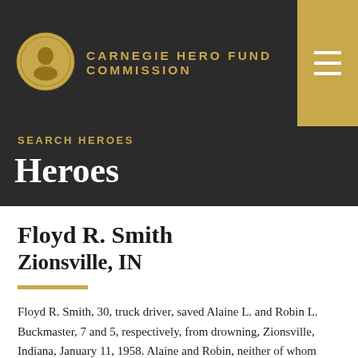CARNEGIE HERO FUND COMMISSION
SEARCH HEROES
Heroes
Floyd R. Smith
Zionsville, IN
Floyd R. Smith, 30, truck driver, saved Alaine L. and Robin L. Buckmaster, 7 and 5, respectively, from drowning, Zionsville, Indiana, January 11, 1958. Alaine and Robin, neither of whom could swim, broke through the ice on a creek which was 50 feet wide and floundered in water eight